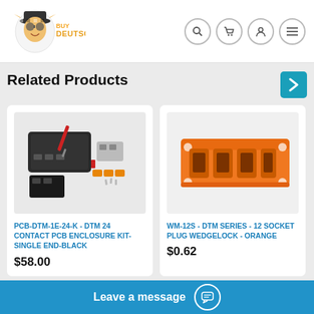[Figure (logo): BuyDeutsch logo with cartoon character mascot]
Related Products
[Figure (photo): PCB-DTM-1E-24-K DTM 24 Contact PCB Enclosure Kit - black enclosure with connectors and tools]
PCB-DTM-1E-24-K - DTM 24 CONTACT PCB ENCLOSURE KIT-SINGLE END-BLACK
$58.00
[Figure (photo): WM-12S DTM Series 12 Socket Plug Wedgelock - orange plastic connector]
WM-12S - DTM SERIES - 12 SOCKET PLUG WEDGELOCK - ORANGE
$0.62
Leave a message